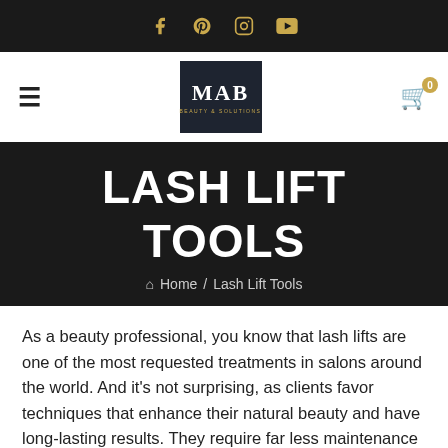Social media icons: Facebook, Pinterest, Instagram, YouTube
[Figure (logo): MAB Beauty & Solutions logo — dark navy square with MAB text in white and gold subtitle]
LASH LIFT TOOLS
Home / Lash Lift Tools
As a beauty professional, you know that lash lifts are one of the most requested treatments in salons around the world. And it's not surprising, as clients favor techniques that enhance their natural beauty and have long-lasting results. They require far less maintenance than eyelash extensions and give better results than a lash perm, and that's why people love them.
But it takes more than technical skills to give your eyelash lift clients awe-inspiring results that keep them coming back. It's also about using the best products. From the lifting and fixing